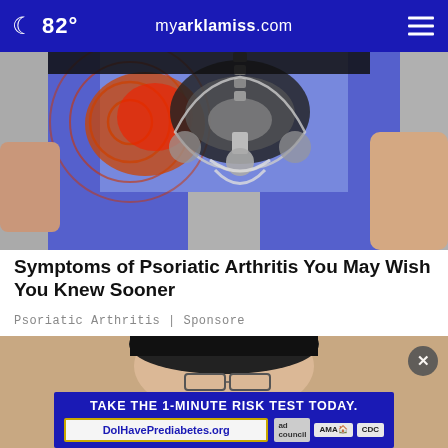82° myarklamiss.com
[Figure (photo): Medical illustration showing hip/pelvis joint with psoriatic arthritis inflammation overlay on person wearing blue leggings]
Symptoms of Psoriatic Arthritis You May Wish You Knew Sooner
Psoriatic Arthritis | Sponsore
[Figure (photo): Close-up of woman's face partially visible, with an advertisement banner overlay reading 'TAKE THE 1-MINUTE RISK TEST TODAY.' with DolHavePrediabetes.org and logos for ad council, AMA, and CDC]